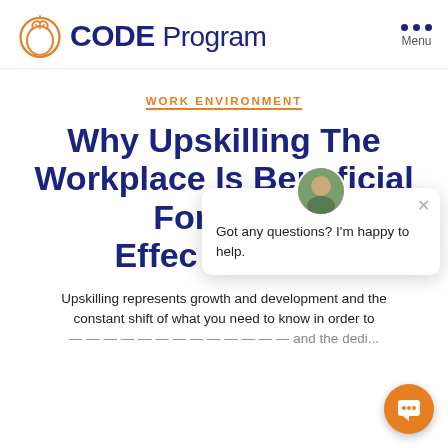CODE Program
WORK ENVIRONMENT
Why Upskilling The Workplace Is Beneficial For Both Effectiveness...
Upskilling represents growth and development and the constant shift of what you need to know in order to...